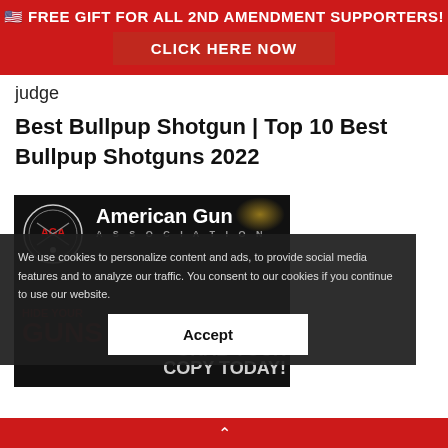🇺🇸 FREE GIFT FOR ALL 2ND AMENDMENT SUPPORTERS! CLICK HERE NOW
judge
Best Bullpup Shotgun | Top 10 Best Bullpup Shotguns 2022
[Figure (photo): American Gun Association banner with AGA logo, text 'American Gun Association', 'HIDE YOUR GUNS', 'GRAB YOUR COPY TODAY!']
We use cookies to personalize content and ads, to provide social media features and to analyze our traffic. You consent to our cookies if you continue to use our website.
Accept